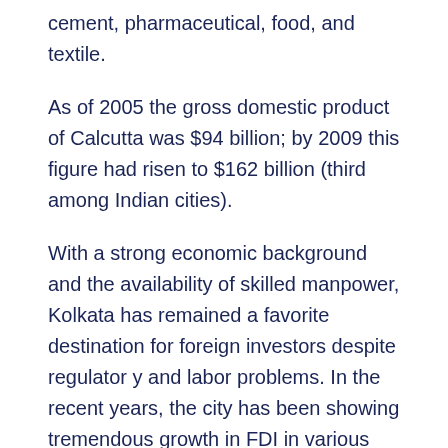cement, pharmaceutical, food, and textile.
As of 2005 the gross domestic product of Calcutta was $94 billion; by 2009 this figure had risen to $162 billion (third among Indian cities).
With a strong economic background and the availability of skilled manpower, Kolkata has remained a favorite destination for foreign investors despite regulator y and labor problems. In the recent years, the city has been showing tremendous growth in FDI in various sectors from multinational companies giving a fillip to job growth.
Iran has also been investing in the state and the city. No doubt, language remains a barrier for communication between the business communities of the two countries.